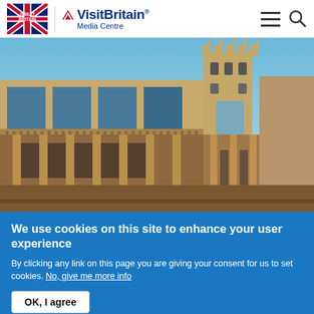Great Britain | VisitBritain Media Centre
[Figure (photo): Roman Baths colonnade with stone columns and arched windows, Bath Abbey tower visible in background against blue sky]
We use cookies on this site to enhance your user experience
By clicking any link on this page you are giving your consent for us to set cookies. No, give me more info
OK, I agree